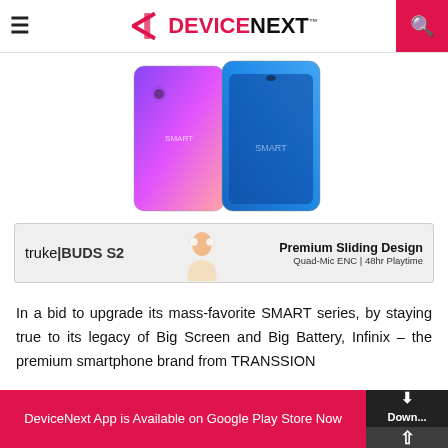≡  DEVICENEXT  🔍
[Figure (photo): Two Infinix SMART smartphones shown from the back, in blue and purple/gradient colors, angled view]
[Figure (photo): Advertisement banner for truke BUDS S2 - Premium Sliding Design, Quad-Mic ENC | 48hr Playtime]
In a bid to upgrade its mass-favorite SMART series, by staying true to its legacy of Big Screen and Big Battery, Infinix – the premium smartphone brand from TRANSSION
DeviceNext App is Available on Google Play Store Now  ⬇ Down...